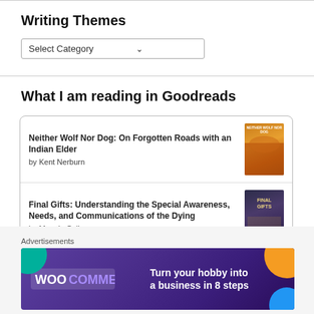Writing Themes
Select Category
What I am reading in Goodreads
Neither Wolf Nor Dog: On Forgotten Roads with an Indian Elder
by Kent Nerburn
Final Gifts: Understanding the Special Awareness, Needs, and Communications of the Dying
by Maggie Callanan
Advertisements
[Figure (infographic): WooCommerce advertisement banner: 'Turn your hobby into a business in 8 steps' on purple background with colorful geometric shapes]